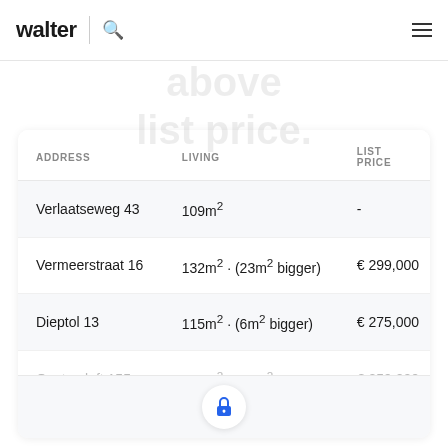walter
average offer is 6% above list price.
| ADDRESS | LIVING | LIST PRICE |
| --- | --- | --- |
| Verlaatseweg 43 | 109m² | - |
| Vermeerstraat 16 | 132m² · (23m² bigger) | € 299,000 |
| Dieptol 13 | 115m² · (6m² bigger) | € 275,000 |
| Oostercluft 155 | 121m² · (12m² bigger) | € 259,000 |
| Capellestraat 132 | 130m² · (21m² bigger) | € 255,000 |